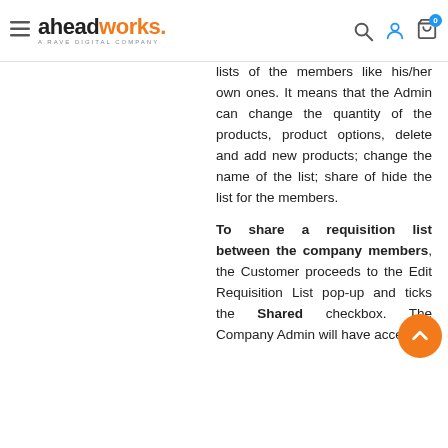aheadworks. A RAVE DIGITAL COMPANY
lists of the members like his/her own ones. It means that the Admin can change the quantity of the products, product options, delete and add new products; change the name of the list; share of hide the list for the members.
To share a requisition list between the company members, the Customer proceeds to the Edit Requisition List pop-up and ticks the Shared checkbox. The Company Admin will have access to